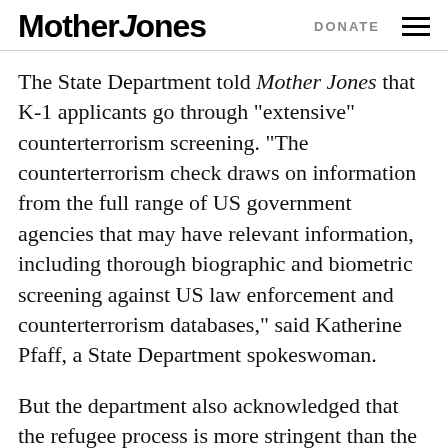Mother Jones | DONATE
The State Department told Mother Jones that K-1 applicants go through “extensive” counterterrorism screening. “The counterterrorism check draws on information from the full range of US government agencies that may have relevant information, including thorough biographic and biometric screening against US law enforcement and counterterrorism databases,” said Katherine Pfaff, a State Department spokeswoman.
But the department also acknowledged that the refugee process is more stringent than the K-1 application. “It’s longer in duration. It’s a more thorough vetting,” said State Department